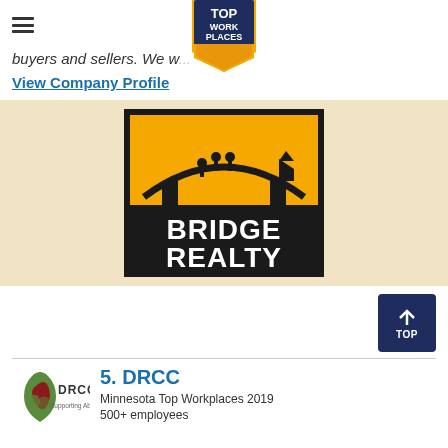≡  [Top Workplaces badge]
buyers and sellers. We w...
View Company Profile
[Figure (logo): Bridge Realty logo: black square with yellow arch/bridge graphic and people silhouettes, text BRIDGE REALTY in white on black background]
↑ TOP
5. DRCC
[Figure (logo): DRCC Supporting Abilities logo: leaf/shield icon in green, red and brown with text DRCC Supporting Abilities]
Minnesota Top Workplaces 2019
500+ employees